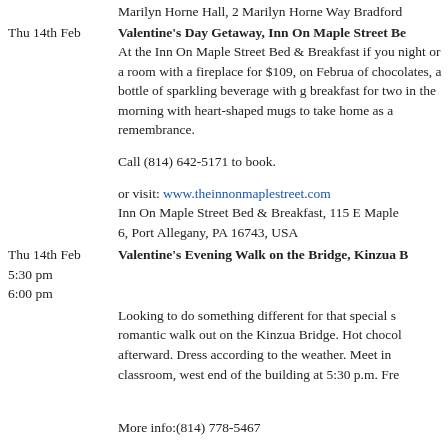Marilyn Horne Hall, 2 Marilyn Horne Way Bradford
Thu 14th Feb — Valentine's Day Getaway, Inn On Maple Street Be...
At the Inn On Maple Street Bed & Breakfast if you night or a room with a fireplace for $109, on Februa of chocolates, a bottle of sparkling beverage with g breakfast for two in the morning with heart-shaped mugs to take home as a remembrance.
Call (814) 642-5171 to book.
or visit: www.theinnonmaplestreet.com Inn On Maple Street Bed & Breakfast, 115 E Maple 6, Port Allegany, PA 16743, USA
Thu 14th Feb 5:30 pm 6:00 pm — Valentine's Evening Walk on the Bridge, Kinzua B
Looking to do something different for that special s romantic walk out on the Kinzua Bridge. Hot chocol afterward. Dress according to the weather. Meet in classroom, west end of the building at 5:30 p.m. Fre
More info:(814) 778-5467